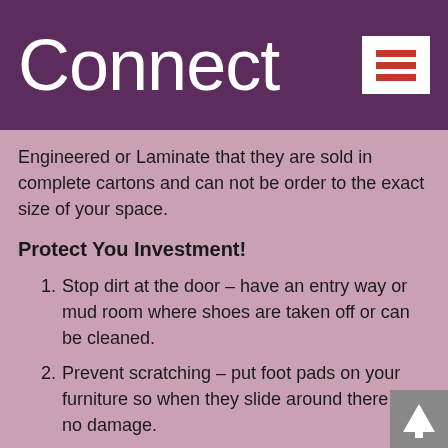Connect
Engineered or Laminate that they are sold in complete cartons and can not be order to the exact size of your space.
Protect You Investment!
Stop dirt at the door – have an entry way or mud room where shoes are taken off or can be cleaned.
Prevent scratching – put foot pads on your furniture so when they slide around there is no damage.
Keep it clean – dust the floor often and use a manufacture approved product for cleaning.